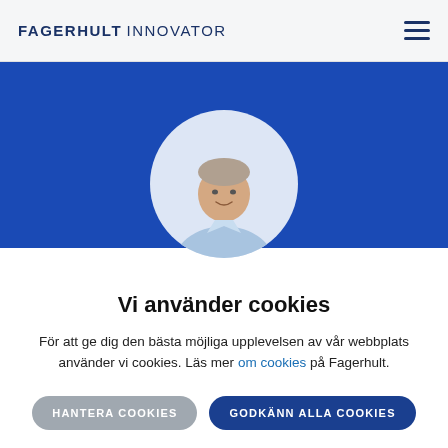FAGERHULT INNOVATOR
[Figure (photo): Blue banner background with circular profile photo of a middle-aged man in a light blue shirt, smiling, on a white/light grey background within the circle.]
Vi använder cookies
För att ge dig den bästa möjliga upplevelsen av vår webbplats använder vi cookies. Läs mer om cookies på Fagerhult.
HANTERA COOKIES   GODKÄNN ALLA COOKIES